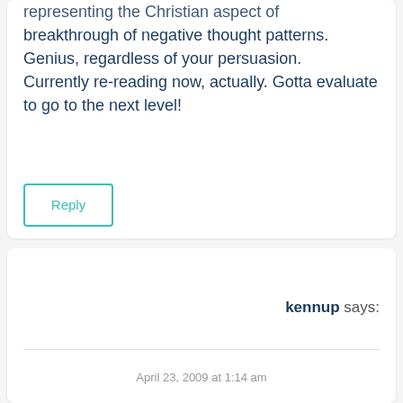[Figure (other): Hamburger menu icon (three horizontal lines) in teal color, top right corner]
representing the Christian aspect of breakthrough of negative thought patterns. Genius, regardless of your persuasion.
Currently re-reading now, actually. Gotta evaluate to go to the next level!
Reply
kennup says:
April 23, 2009 at 1:14 am